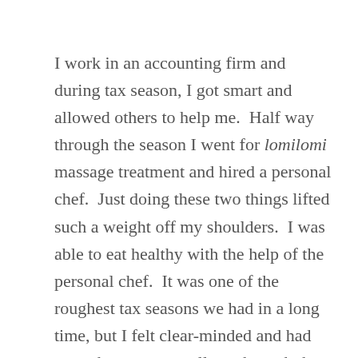I work in an accounting firm and during tax season, I got smart and allowed others to help me.  Half way through the season I went for lomilomi massage treatment and hired a personal chef.  Just doing these two things lifted such a weight off my shoulders.  I was able to eat healthy with the help of the personal chef.  It was one of the roughest tax seasons we had in a long time, but I felt clear-minded and had enough energy to pull me through the season.  I used to pride myself in doing everything myself. Now, I know it is best for people to help one another by doing what they love.  I am able to share my light by helping people through my career in accounting and love of writing.  By allowing